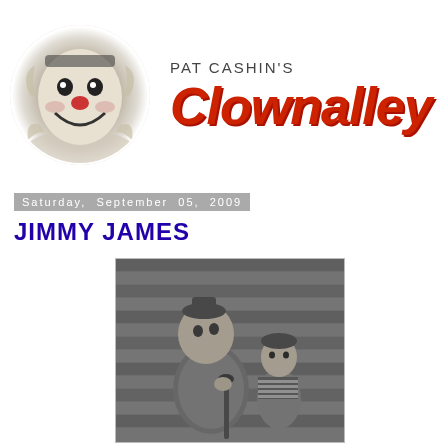[Figure (logo): Pat Cashin's Clown Alley blog header with circular clown face photo on left and red italic 'CLOWNALLEY' text with 'PAT CASHIN'S' above it]
Saturday, September 05, 2009
JIMMY JAMES
[Figure (photo): Black and white photograph of a clown in costume sitting with a young boy in a striped shirt, posed in front of what appears to be a wall of horizontal boards]